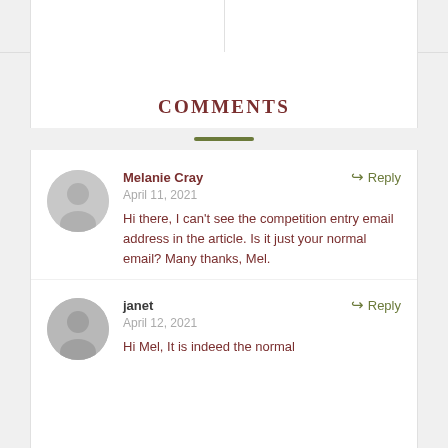COMMENTS
Melanie Cray — April 11, 2021 — Hi there, I can't see the competition entry email address in the article. Is it just your normal email? Many thanks, Mel.
janet — April 12, 2021 — Hi Mel, It is indeed the normal